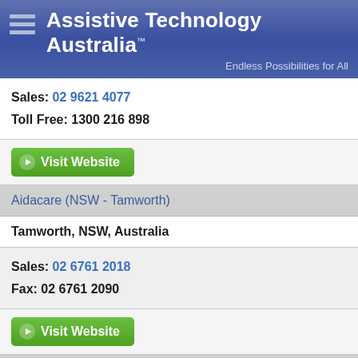Assistive Technology Australia™ — Endless Possibilities for All
Sales: 02 9621 4077
Toll Free: 1300 216 898
Visit Website
Aidacare (NSW - Tamworth)
Tamworth, NSW, Australia
Sales: 02 6761 2018
Fax: 02 6761 2090
Visit Website
Aidacare (NSW - Wollongong)
Wollongong, NSW, Australia
Sales: 02 4273 0184
Fax: 02 9618 5111
Toll Free: 1300 133 120
Visit Website